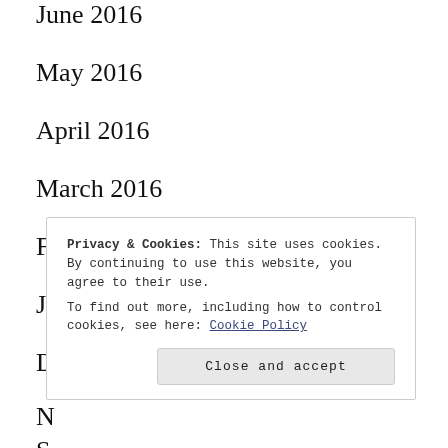June 2016
May 2016
April 2016
March 2016
February 2016
January 2016
December 2015
N...
S...
A...
April 2015
Privacy & Cookies: This site uses cookies. By continuing to use this website, you agree to their use.
To find out more, including how to control cookies, see here: Cookie Policy